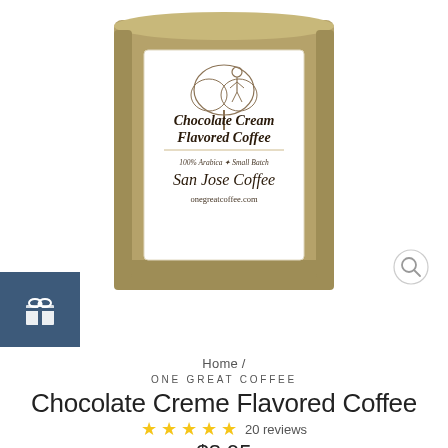[Figure (photo): Coffee bag product photo: a kraft paper bag with white label reading 'Chocolate Cream Flavored Coffee', '100% Arabica * Small Batch', 'San Jose Coffee', 'onegreatcoffee.com', with an illustration of a person under a tree.]
Home /
ONE GREAT COFFEE
Chocolate Creme Flavored Coffee
★★★★★ 20 reviews
$8.95